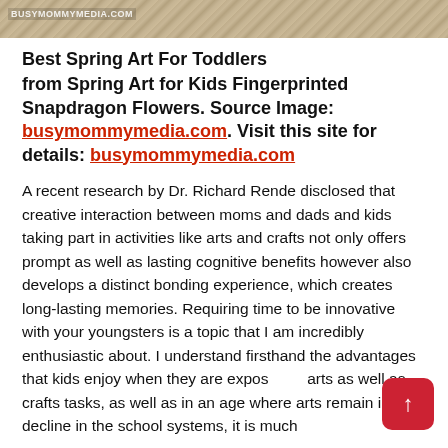[Figure (photo): Sandy/grainy textured background image banner with watermark text BUSYMOMMYMEDIA.COM in top left corner]
Best Spring Art For Toddlers from Spring Art for Kids Fingerprinted Snapdragon Flowers. Source Image: busymommymedia.com. Visit this site for details: busymommymedia.com
A recent research by Dr. Richard Rende disclosed that creative interaction between moms and dads and kids taking part in activities like arts and crafts not only offers prompt as well as lasting cognitive benefits however also develops a distinct bonding experience, which creates long-lasting memories. Requiring time to be innovative with your youngsters is a topic that I am incredibly enthusiastic about. I understand firsthand the advantages that kids enjoy when they are exposed to arts as well as crafts tasks, as well as in an age where arts remain in a decline in the school systems, it is much